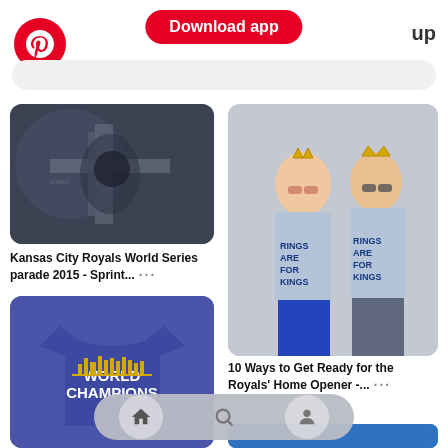Pinterest app header with Download app button and up text
[Figure (screenshot): Aerial view of Kansas City Royals World Series parade 2015, crowd filling streets]
Kansas City Royals World Series parade 2015 - Sprint... ...
[Figure (photo): Blue t-shirt with WORLD CHAMPIONS text and gold skyline graphic, Kansas City Royals merchandise]
[Figure (photo): Couple wearing light blue RINGS ARE FOR KINGS t-shirts and gold crowns, Royals fan photo]
10 Ways to Get Ready for the Royals' Home Opener -... ...
[Figure (photo): Partial blue image at bottom right, Royals related]